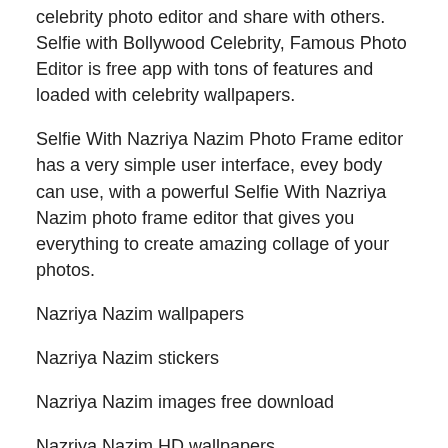celebrity photo editor and share with others. Selfie with Bollywood Celebrity, Famous Photo Editor is free app with tons of features and loaded with celebrity wallpapers.
Selfie With Nazriya Nazim Photo Frame editor has a very simple user interface, evey body can use, with a powerful Selfie With Nazriya Nazim photo frame editor that gives you everything to create amazing collage of your photos.
Nazriya Nazim wallpapers
Nazriya Nazim stickers
Nazriya Nazim images free download
Nazriya Nazim HD wallpapers
Bollywood movies celebrity photo editor